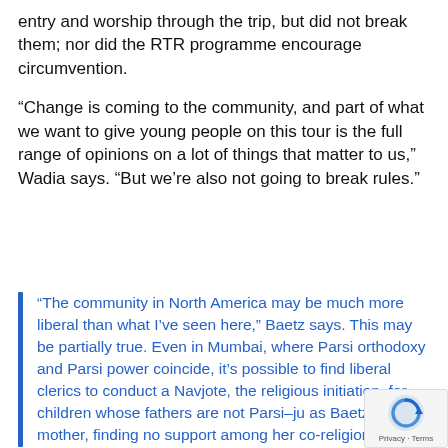entry and worship through the trip, but did not break them; nor did the RTR programme encourage circumvention.
“Change is coming to the community, and part of what we want to give young people on this tour is the full range of opinions on a lot of things that matter to us,” Wadia says. “But we’re also not going to break rules.”
“The community in North America may be much more liberal than what I’ve seen here,” Baetz says. This may be partially true. Even in Mumbai, where Parsi orthodoxy and Parsi power coincide, it’s possible to find liberal clerics to conduct a Navjote, the religious initiation, for children whose fathers are not Parsi–ju as Baetz’s mother, finding no support among her co-religionists in Toronto,